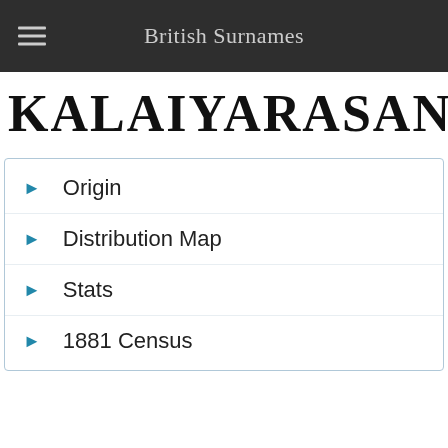British Surnames
KALAIYARASAN
Origin
Distribution Map
Stats
1881 Census